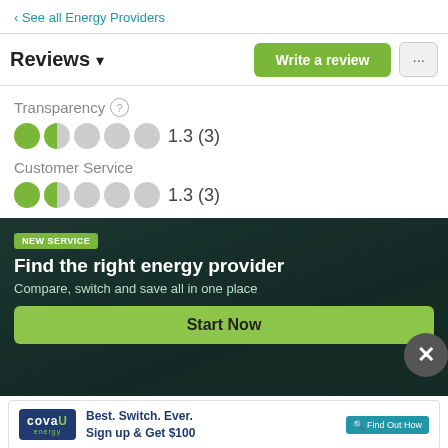‹ See all Energy Providers
Reviews ▾
Write a review
Transparency  1.3 (3)
Customer Service  1.3 (3)
[Figure (infographic): Promotional banner with dark house background. Badge says NEW SERVICE. Headline: Find the right energy provider. Subtext: Compare, switch and save all in one place. Green Start Now button.]
[Figure (infographic): CovauU Energy advertisement: Best. Switch. Ever. Sign up & Get $100. Find Out How button.]
alter or remove reviews from